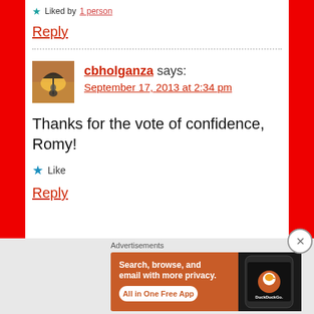★ Liked by 1 person
Reply
cbholganza says:
September 17, 2013 at 2:34 pm
Thanks for the vote of confidence, Romy!
★ Like
Reply
Advertisements
[Figure (infographic): DuckDuckGo advertisement banner: orange background with text 'Search, browse, and email with more privacy. All in One Free App' and DuckDuckGo logo on a phone mockup]